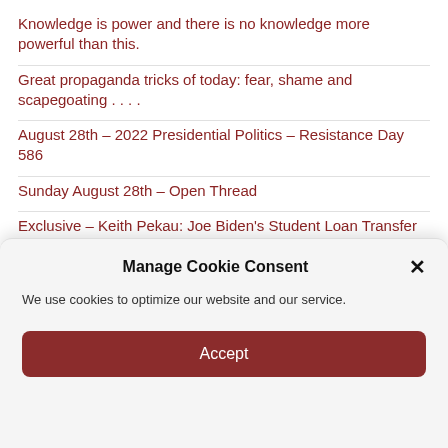Knowledge is power and there is no knowledge more powerful than this.
Great propaganda tricks of today: fear, shame and scapegoating . . . .
August 28th – 2022 Presidential Politics – Resistance Day 586
Sunday August 28th – Open Thread
Exclusive – Keith Pekau: Joe Biden's Student Loan Transfer 'Fundamentally Unfair' to Working-Class Americans
Biden's laptop and Zuckerberg's tangle of whispers
Manage Cookie Consent
We use cookies to optimize our website and our service.
Accept